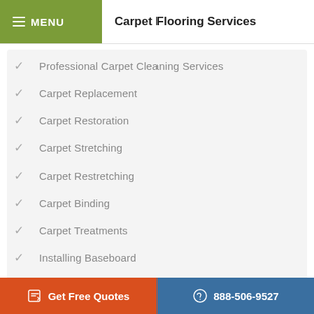MENU  Carpet Flooring Services
Professional Carpet Cleaning Services
Carpet Replacement
Carpet Restoration
Carpet Stretching
Carpet Restretching
Carpet Binding
Carpet Treatments
Installing Baseboard
Wool Rug Cleaning
Get Free Quotes  888-506-9527